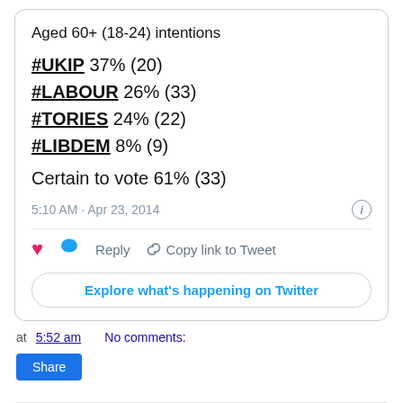Aged 60+ (18-24) intentions
#UKIP 37% (20)
#LABOUR 26% (33)
#TORIES 24% (22)
#LIBDEM 8% (9)
Certain to vote 61% (33)
5:10 AM · Apr 23, 2014
Reply   Copy link to Tweet
Explore what's happening on Twitter
at 5:52 am   No comments:
Share
Tuesday, 22 April 2014
List of 554 TUSC candidates for M...